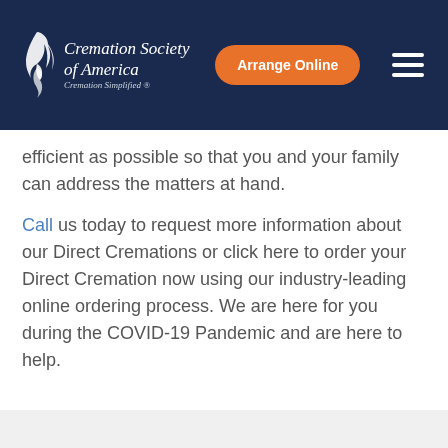Cremation Society of America — Cremation Simplified® | Arrange Online
efficient as possible so that you and your family can address the matters at hand.
Call us today to request more information about our Direct Cremations or click here to order your Direct Cremation now using our industry-leading online ordering process. We are here for you during the COVID-19 Pandemic and are here to help.
← Previous Post
Next Post →